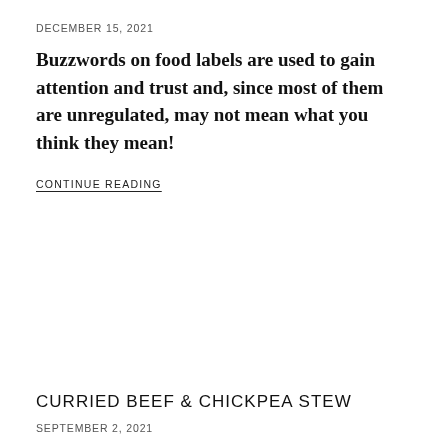DECEMBER 15, 2021
Buzzwords on food labels are used to gain attention and trust and, since most of them are unregulated, may not mean what you think they mean!
CONTINUE READING
CURRIED BEEF & CHICKPEA STEW
SEPTEMBER 2, 2021
This one pot stew is made hearty and healthy with 100%